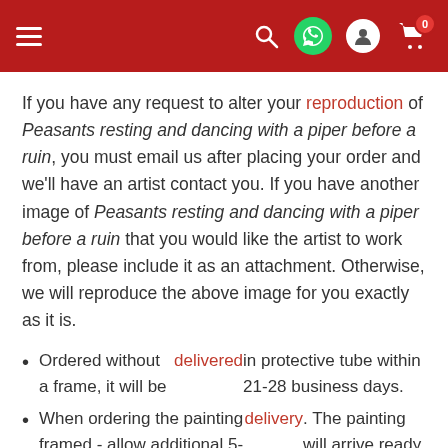Navigation header with menu, search, WhatsApp, user, and cart icons
If you have any request to alter your reproduction of Peasants resting and dancing with a piper before a ruin, you must email us after placing your order and we'll have an artist contact you. If you have another image of Peasants resting and dancing with a piper before a ruin that you would like the artist to work from, please include it as an attachment. Otherwise, we will reproduce the above image for you exactly as it is.
Ordered without a frame, it will be delivered in protective tube within 21-28 business days.
When ordering the painting framed - allow additional 5-7 days for delivery. The painting will arrive ready to hang.
Every painting is painted by an experienced artist.
No printing or digital imaging techniques are used.
100% hand painted oil painting on artist grade canvas.